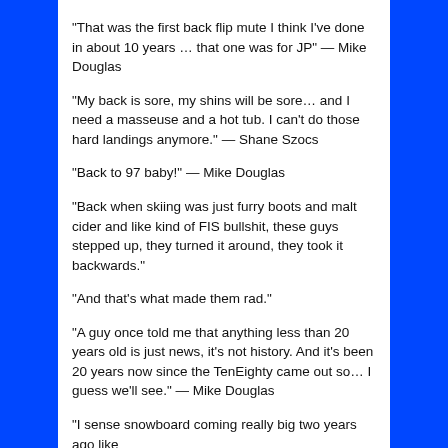“That was the first back flip mute I think I’ve done in about 10 years … that one was for JP” — Mike Douglas
“My back is sore, my shins will be sore… and I need a masseuse and a hot tub. I can’t do those hard landings anymore.” — Shane Szocs
“Back to 97 baby!” — Mike Douglas
“Back when skiing was just furry boots and malt cider and like kind of FIS bullshit, these guys stepped up, they turned it around, they took it backwards.”
“And that’s what made them rad.”
“A guy once told me that anything less than 20 years old is just news, it’s not history. And it’s been 20 years now since the TenEighty came out so… I guess we’ll see.” — Mike Douglas
“I sense snowboard coming really big two years ago like